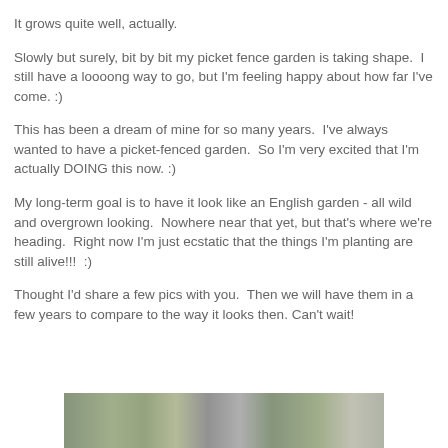It grows quite well, actually.
Slowly but surely, bit by bit my picket fence garden is taking shape.  I still have a loooong way to go, but I'm feeling happy about how far I've come. :)
This has been a dream of mine for so many years.  I've always wanted to have a picket-fenced garden.  So I'm very excited that I'm actually DOING this now. :)
My long-term goal is to have it look like an English garden - all wild and overgrown looking.  Nowhere near that yet, but that's where we're heading.  Right now I'm just ecstatic that the things I'm planting are still alive!!!  :)
Thought I'd share a few pics with you.  Then we will have them in a few years to compare to the way it looks then.  Can't wait!
[Figure (photo): A strip photo showing a garden scene with green plants and foliage, partially visible at the bottom of the page.]